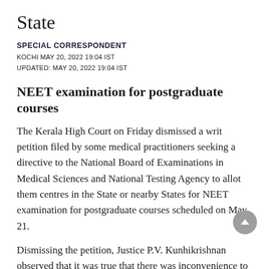State
SPECIAL CORRESPONDENT
KOCHI MAY 20, 2022 19:04 IST
UPDATED: MAY 20, 2022 19:04 IST
NEET examination for postgraduate courses
The Kerala High Court on Friday dismissed a writ petition filed by some medical practitioners seeking a directive to the National Board of Examinations in Medical Sciences and National Testing Agency to allot them centres in the State or nearby States for NEET examination for postgraduate courses scheduled on May 21.
Dismissing the petition, Justice P.V. Kunhikrishnan observed that it was true that there was inconvenience to the petitioners because of the sudden notice about the